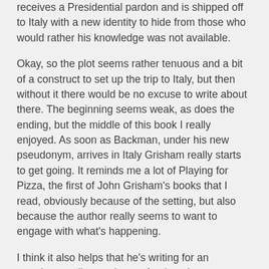receives a Presidential pardon and is shipped off to Italy with a new identity to hide from those who would rather his knowledge was not available.
Okay, so the plot seems rather tenuous and a bit of a construct to set up the trip to Italy, but then without it there would be no excuse to write about there. The beginning seems weak, as does the ending, but the middle of this book I really enjoyed. As soon as Backman, under his new pseudonym, arrives in Italy Grisham really starts to get going. It reminds me a lot of Playing for Pizza, the first of John Grisham's books that I read, obviously because of the setting, but also because the author really seems to want to engage with what's happening.
I think it also helps that he's writing for an american audience about a foreign place - whereas in some of his novels set in the US there seems to be a level of assumed knowledge that isn't quite right for a British reader. This means he really works hard to paint a scene and depict the feeling of the settings for someone who hasn't been there. It's Grisham's first attempt at an espionage novel - it's almost not even a legal thriller at all - and I thought he did very well. The pace is good and both sides develop in step, but I got the feeling that some of it was unnecessary and was there just as an attempt to ratchet up the tension